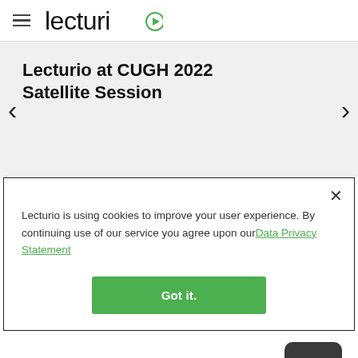Lecturio (logo with hamburger menu)
Lecturio at CUGH 2022 Satellite Session
Lecturio is using cookies to improve your user experience. By continuing use of our service you agree upon our Data Privacy Statement
Got it.